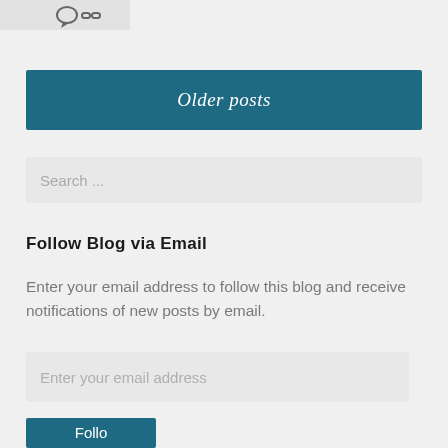[Figure (illustration): Two small dark icons — a speech bubble and a chain/link icon — in a light gray box at the top left corner of the page]
Older posts
Search ...
Follow Blog via Email
Enter your email address to follow this blog and receive notifications of new posts by email.
Enter your email address
Follo